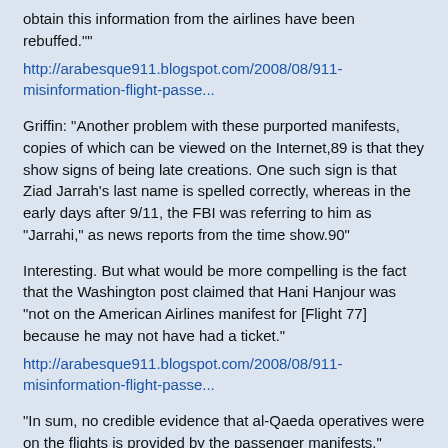obtain this information from the airlines have been rebuffed.""
http://arabesque911.blogspot.com/2008/08/911-misinformation-flight-passe...
Griffin: "Another problem with these purported manifests, copies of which can be viewed on the Internet,89 is that they show signs of being late creations. One such sign is that Ziad Jarrah’s last name is spelled correctly, whereas in the early days after 9/11, the FBI was referring to him as "Jarrahi," as news reports from the time show.90"
Interesting. But what would be more compelling is the fact that the Washington post claimed that Hani Hanjour was “not on the American Airlines manifest for [Flight 77] because he may not have had a ticket."
http://arabesque911.blogspot.com/2008/08/911-misinformation-flight-passe...
"In sum, no credible evidence that al-Qaeda operatives were on the flights is provided by the passenger manifests."
I don't disagree but some of these claims are